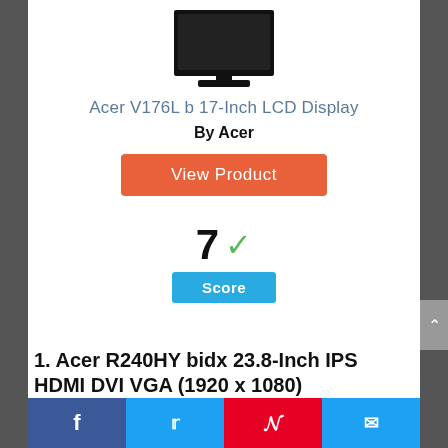[Figure (photo): Acer V176L b 17-Inch LCD Display monitor product image, black monitor on stand, top portion visible]
Acer V176L b 17-Inch LCD Display
By Acer
View Product
7 ✓ Score
1. Acer R240HY bidx 23.8-Inch IPS HDMI DVI VGA (1920 x 1080)
Facebook | Twitter | Pinterest | Email